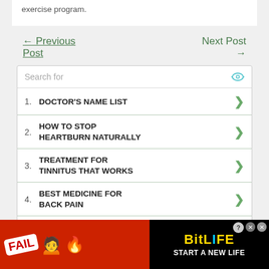exercise program.
← Previous Post
Next Post →
1. DOCTOR'S NAME LIST
2. HOW TO STOP HEARTBURN NATURALLY
3. TREATMENT FOR TINNITUS THAT WORKS
4. BEST MEDICINE FOR BACK PAIN
5. CHELATION THERAPY
[Figure (screenshot): BitLife mobile game advertisement banner: FAIL text, fire emojis, person facepalming emoji, sperm emoji, BitLife logo, START A NEW LIFE text]